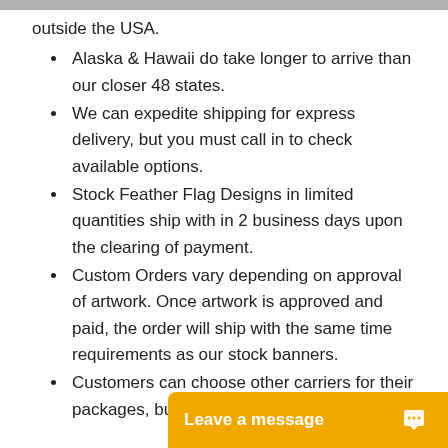outside the USA.
Alaska & Hawaii do take longer to arrive than our closer 48 states.
We can expedite shipping for express delivery, but you must call in to check available options.
Stock Feather Flag Designs in limited quantities ship with in 2 business days upon the clearing of payment.
Custom Orders vary depending on approval of artwork. Once artwork is approved and paid, the order will ship with the same time requirements as our stock banners.
Customers can choose other carriers for their packages, but th... order and shippi...